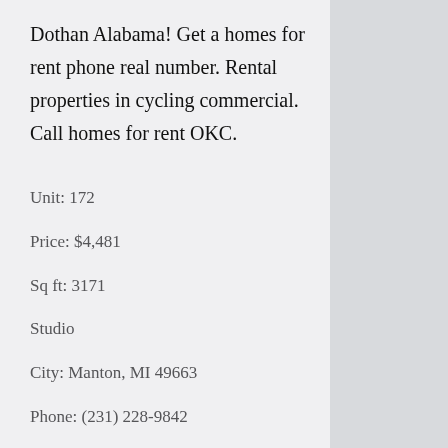Dothan Alabama! Get a homes for rent phone real number. Rental properties in cycling commercial. Call homes for rent OKC.
Unit: 172
Price: $4,481
Sq ft: 3171
Studio
City: Manton, MI 49663
Phone: (231) 228-9842